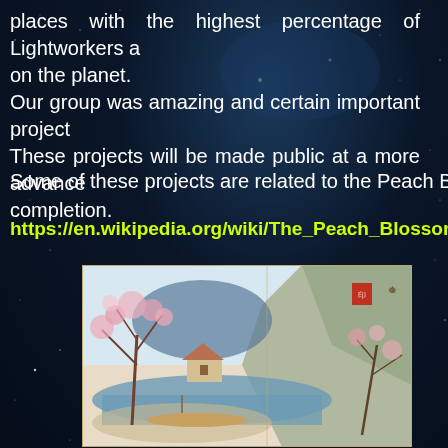places with the highest percentage of Lightworkers a on the planet. Our group was amazing and certain important project These projects will be made public at a more advance completion.
Some of these projects are related to the Peach Blosso
https://en.wikipedia.org/wiki/The_Peach_Blossom_Spri
[Figure (illustration): Traditional East Asian ink painting depicting a peach blossom spring scene with mountains, blossoming trees, a small house, a river/stream, and a boat in the foreground.]